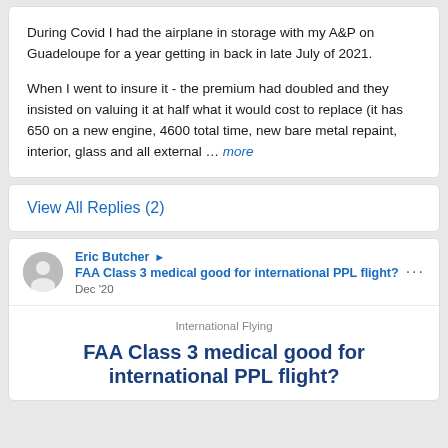During Covid I had the airplane in storage with my A&P on Guadeloupe for a year getting in back in late July of 2021.

When I went to insure it - the premium had doubled and they insisted on valuing it at half what it would cost to replace (it has 650 on a new engine, 4600 total time, new bare metal repaint, interior, glass and all external ... more
View All Replies (2)
Eric Butcher ▶ FAA Class 3 medical good for international PPL flight? Dec '20
International Flying
FAA Class 3 medical good for international PPL flight?